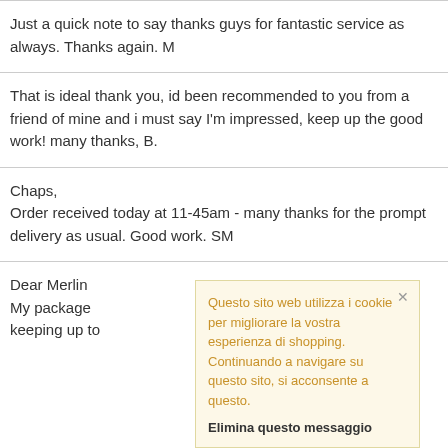Just a quick note to say thanks guys for fantastic service as always. Thanks again. M
That is ideal thank you, id been recommended to you from a friend of mine and i must say I'm impressed, keep up the good work! many thanks, B.
Chaps,
Order received today at 11-45am - many thanks for the prompt delivery as usual. Good work. SM
Dear Merlin
My package ... keeping up t... ent service.
Questo sito web utilizza i cookie per migliorare la vostra esperienza di shopping. Continuando a navigare su questo sito, si acconsente a questo. Elimina questo messaggio